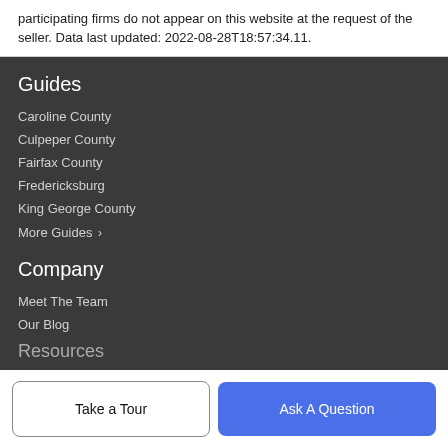participating firms do not appear on this website at the request of the seller. Data last updated: 2022-08-28T18:57:34.11.
Guides
Caroline County
Culpeper County
Fairfax County
Fredericksburg
King George County
More Guides >
Company
Meet The Team
Our Blog
Resources